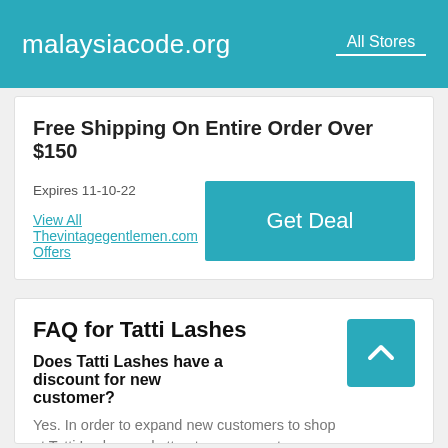malaysiacode.org   All Stores
Free Shipping On Entire Order Over $150
Expires 11-10-22
View All Thevintagegentlemen.com Offers
FAQ for Tatti Lashes
Does Tatti Lashes have a discount for new customer?
Yes. In order to expand new customers to shop at Tatti Lashes and attract more repeat customers,